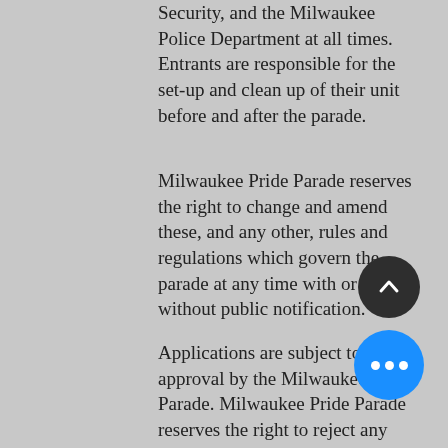Security, and the Milwaukee Police Department at all times. Entrants are responsible for the set-up and clean up of their unit before and after the parade.
Milwaukee Pride Parade reserves the right to change and amend these, and any other, rules and regulations which govern the parade at any time with or without public notification.
Applications are subject to approval by the Milwaukee Pride Parade. Milwaukee Pride Parade reserves the right to reject any application it believes would be inappropriate given the nature of the event.
The throwing of objects is NOT permitted under any circumstance.
Any parade unit found in violation theses rules and regulations can and